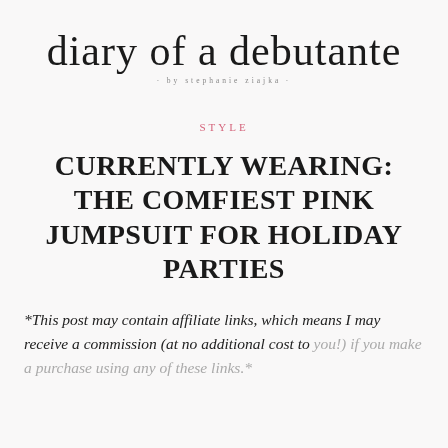diary of a debutante · by stephanie ziajka
STYLE
CURRENTLY WEARING: THE COMFIEST PINK JUMPSUIT FOR HOLIDAY PARTIES
*This post may contain affiliate links, which means I may receive a commission (at no additional cost to you!) if you make a purchase using any of these links.*